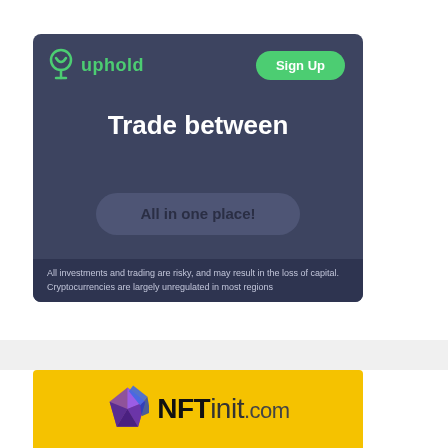[Figure (screenshot): Uphold crypto trading platform advertisement banner. Dark blue-gray background. Uphold logo (green icon and green wordmark) top-left. Green 'Sign Up' button top-right. Large white bold text 'Trade between' in center. Rounded gray button 'All in one place!' below. Dark disclaimer bar at bottom.]
All investments and trading are risky, and may result in the loss of capital. Cryptocurrencies are largely unregulated in most regions
[Figure (logo): NFTinit.com logo on yellow background. Purple and blue crystalline/geometric logo icon on left. Bold black text 'NFTinit' with lighter '.com' suffix.]